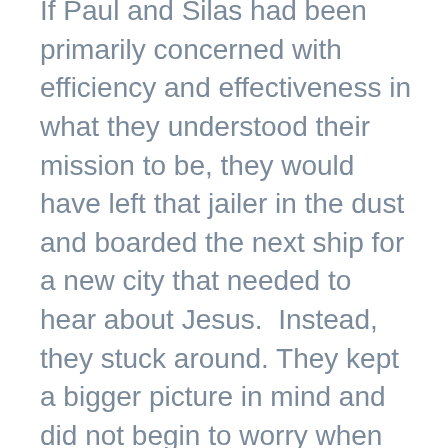If Paul and Silas had been primarily concerned with efficiency and effectiveness in what they understood their mission to be, they would have left that jailer in the dust and boarded the next ship for a new city that needed to hear about Jesus.  Instead, they stuck around. They kept a bigger picture in mind and did not begin to worry when their idea of what God's call should look like in their life no longer matched up with reality. In the process, the jailer and his family were converted before Paul and Silas continued on their way.
Even though Paul and Silas undoubtedly felt the pressure of